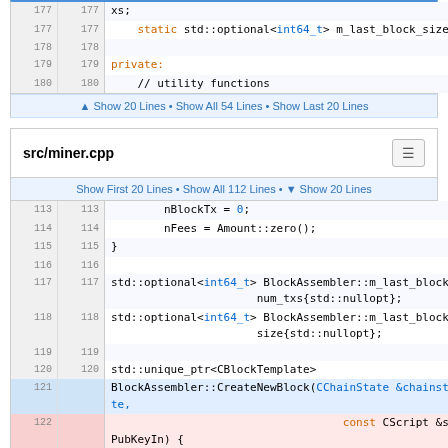[Figure (screenshot): Code diff viewer showing src/miner.cpp with line numbers. Top section shows lines 177-180 with C++ code including xs;, static std::optional<int64_t> m_last_block_size;, empty line, private:, // utility functions. Middle section shows Show 20 Lines • Show All 54 Lines • Show Last 20 Lines control. Then src/miner.cpp file header. Then Show First 20 Lines • Show All 112 Lines • Show 20 Lines control. Bottom section shows lines 113-122 with C++ code including nBlockTx=0;, nFees=Amount::zero();, closing brace, std::optional definitions, std::unique_ptr, BlockAssembler::CreateNewBlock with highlighted line 122 in pink showing const CScript &scriptPubKeyIn) {]